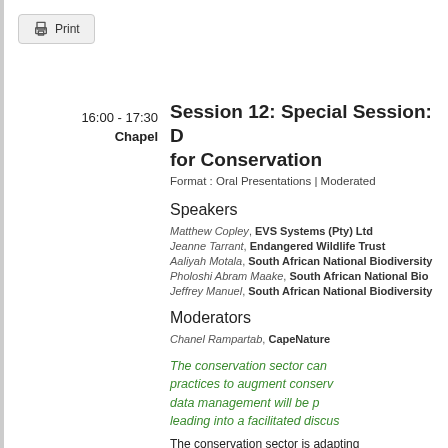Print
16:00 - 17:30
Chapel
Session 12: Special Session: [D] for Conservation
Format : Oral Presentations | Moderated
Speakers
Matthew Copley, EVS Systems (Pty) Ltd
Jeanne Tarrant, Endangered Wildlife Trust
Aaliyah Motala, South African National Biodiversity
Pholoshi Abram Maake, South African National Bio
Jeffrey Manuel, South African National Biodiversity
Moderators
Chanel Rampartab, CapeNature
The conservation sector can practices to augment conserv data management will be p leading into a facilitated discus
The conservation sector is adapting practice and outcomes. It follows lo